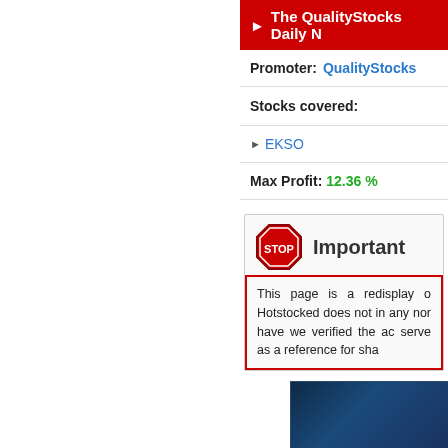The QualityStocks Daily N
Promoter: QualityStocks
Stocks covered:
EKSO
Max Profit: 12.36 %
Important
This page is a redisplay o Hotstocked does not in any nor have we verified the ac serve as a reference for sha